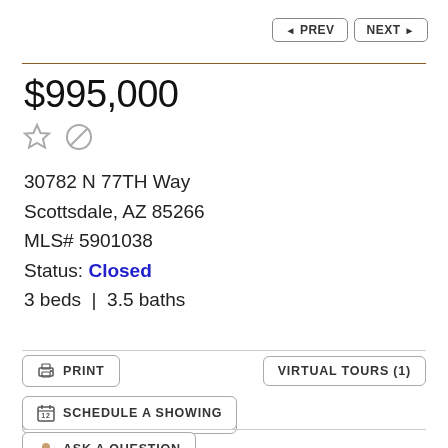◄ PREV   NEXT ►
$995,000
30782 N 77TH Way
Scottsdale, AZ 85266
MLS# 5901038
Status: Closed
3 beds  |  3.5 baths
PRINT
VIRTUAL TOURS (1)
SCHEDULE A SHOWING
ASK A QUESTION